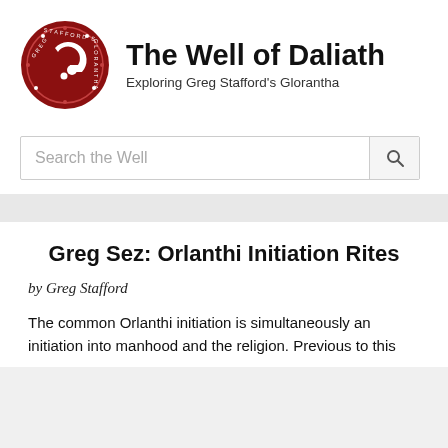[Figure (logo): Greg Stafford's Glorantha circular logo with dark red background and stylized 'G' with swirl design]
The Well of Daliath
Exploring Greg Stafford's Glorantha
Search the Well
Greg Sez: Orlanthi Initiation Rites
by Greg Stafford
The common Orlanthi initiation is simultaneously an initiation into manhood and the religion. Previous to this